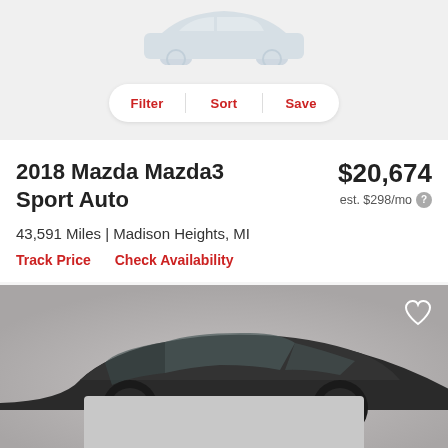[Figure (screenshot): Car silhouette icon (light blue/grey) at top of page, cropped at top]
Filter  Sort  Save
2018 Mazda Mazda3 Sport Auto
$20,674
est. $298/mo
43,591 Miles | Madison Heights, MI
Track Price    Check Availability
[Figure (photo): Dark grey Mazda3 hatchback car photo, front-three-quarter view, on grey gradient background with white heart/favorite icon in top right corner]